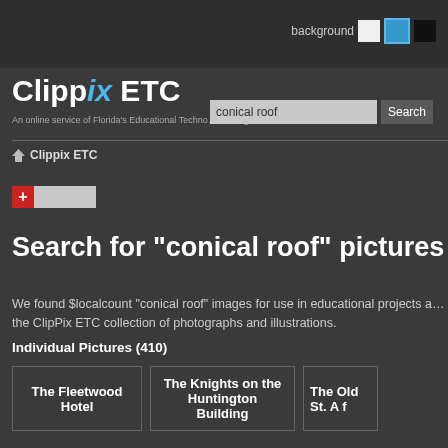background [white] [blue] [black]
Clippix ETC
An online service of Florida's Educational Technology Clearinghouse
conical roof [Search]
Clippix ETC
Search for "conical roof" pictures
We found $localcount "conical roof" images for use in educational projects and the ClipPix ETC collection of photographs and illustrations.
Individual Pictures (410)
The Fleetwood Hotel
The Knights on the Huntington Building
The Old St. A... f...